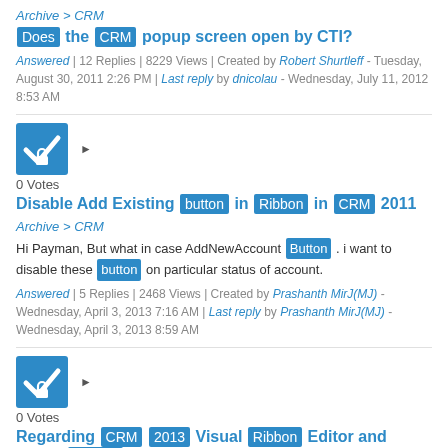Archive > CRM
Does the CRM popup screen open by CTI?
Answered | 12 Replies | 8229 Views | Created by Robert Shurtleff - Tuesday, August 30, 2011 2:26 PM | Last reply by dnicolau - Wednesday, July 11, 2012 8:53 AM
[Figure (other): Blue square icon with white checkmark and lock symbol, answer indicator]
0 Votes
Disable Add Existing button in Ribbon in CRM 2011
Archive > CRM
Hi Payman, But what in case AddNewAccount Button . i want to disable these button on particular status of account.
Answered | 5 Replies | 2468 Views | Created by Prashanth MirJ(MJ) - Wednesday, April 3, 2013 7:16 AM | Last reply by Prashanth MirJ(MJ) - Wednesday, April 3, 2013 8:59 AM
[Figure (other): Blue square icon with white checkmark and lock symbol, answer indicator]
0 Votes
Regarding CRM 2013 Visual Ribbon Editor and Visual Ribbon Work Bench